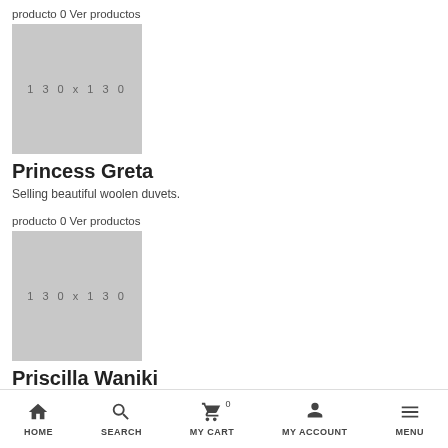producto 0 Ver productos
[Figure (other): Placeholder image 130x130 for Princess Greta product]
Princess Greta
Selling beautiful woolen duvets.
producto 0 Ver productos
[Figure (other): Placeholder image 130x130 for Priscilla Waniki product]
Priscilla Waniki
Sells...
HOME   SEARCH   MY CART 0   MY ACCOUNT   MENU